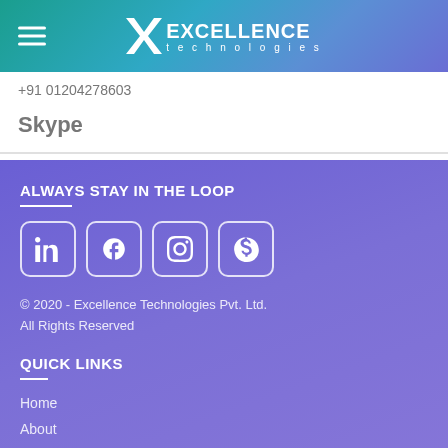Excellence Technologies
+91 01204278603
Skype
ALWAYS STAY IN THE LOOP
[Figure (other): Social media icons: LinkedIn, Facebook, Instagram, Skype]
© 2020 - Excellence Technologies Pvt. Ltd. All Rights Reserved
QUICK LINKS
Home
About
Services
Career
Portfolio